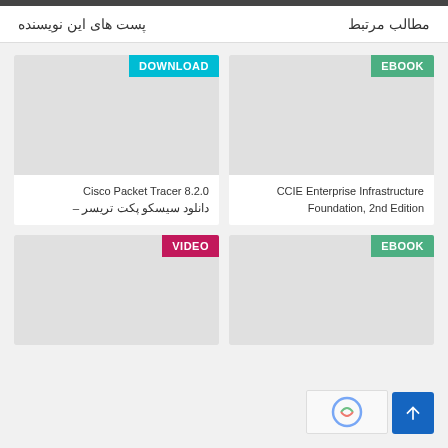مطالب مرتبط | پست های این نویسنده
[Figure (screenshot): Card with DOWNLOAD badge and gray image placeholder]
Cisco Packet Tracer 8.2.0 – دانلود سیسکو پکت تریسر
[Figure (screenshot): Card with EBOOK badge and gray image placeholder]
CCIE Enterprise Infrastructure Foundation, 2nd Edition
[Figure (screenshot): Card with VIDEO badge and gray image placeholder]
[Figure (screenshot): Card with EBOOK badge and gray image placeholder]